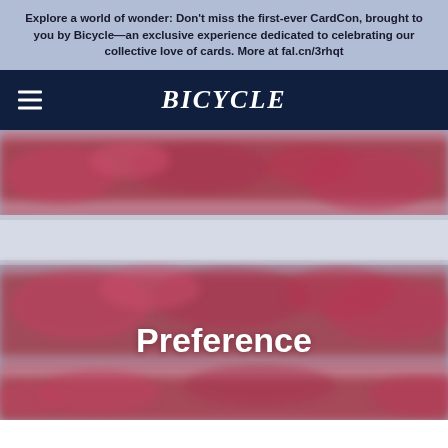Explore a world of wonder: Don't miss the first-ever CardCon, brought to you by Bicycle—an exclusive experience dedicated to celebrating our collective love of cards. More at fal.cn/3rhqt
[Figure (logo): Bicycle playing cards logo in white on dark navy background, with hamburger menu icon on the left]
[Figure (photo): Close-up macro photo of red Bicycle playing card backs showing decorative ornamental pattern, blurred/bokeh effect. Text overlay reads 'Preference' in bold white.]
Preference